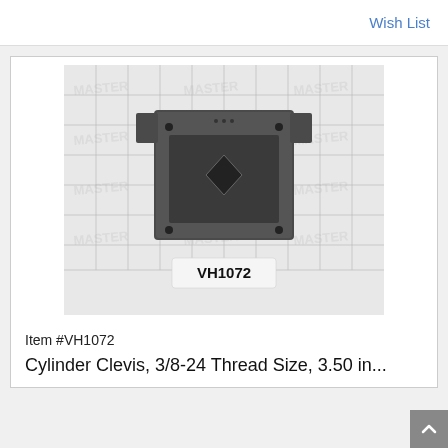Wish List
[Figure (photo): Product photo of a Cylinder Clevis part (VH1072) photographed on a grid/graph paper background. The part is a dark gray/black metal block with a recessed diamond-shaped channel on top and two protruding tabs on either side at the top. Label 'VH1072' is printed below the part on the grid paper.]
Item #VH1072
Cylinder Clevis, 3/8-24 Thread Size, 3.50 in...